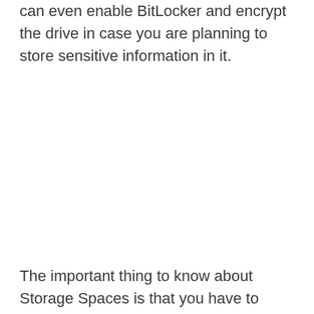can even enable BitLocker and encrypt the drive in case you are planning to store sensitive information in it.
The important thing to know about Storage Spaces is that you have to manage them from their very own utility and not through any other tool in Windows. The utility resides